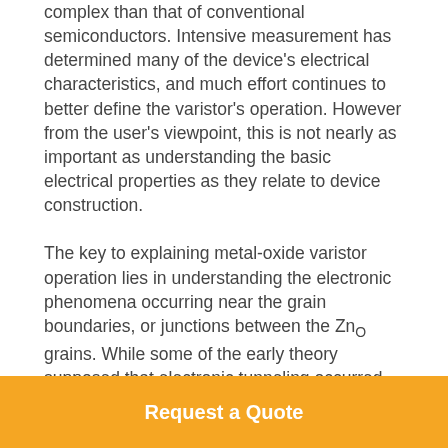complex than that of conventional semiconductors. Intensive measurement has determined many of the device's electrical characteristics, and much effort continues to better define the varistor's operation. However from the user's viewpoint, this is not nearly as important as understanding the basic electrical properties as they relate to device construction. The key to explaining metal-oxide varistor operation lies in understanding the electronic phenomena occurring near the grain boundaries, or junctions between the ZnO grains. While some of the early theory supposed that electronic tunneling occurred through an insulating second phase layer at the grain boundaries, varistor operation is probably better described by a series-parallel arrangement of semiconducting diodes. In
Request a Quote